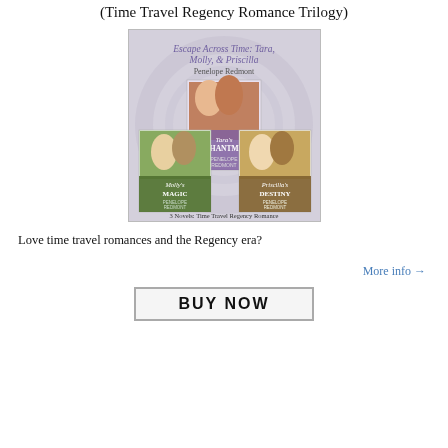(Time Travel Regency Romance Trilogy)
[Figure (illustration): Book cover image for 'Escape Across Time: Tara, Molly, & Priscilla' by Penelope Redmont, showing three romance novel covers: Tara's Enchantment, Molly's Magic, and Priscilla's Destiny. Subtitle: 3 Novels: Time Travel Regency Romance.]
Love time travel romances and the Regency era?
More info →
BUY NOW